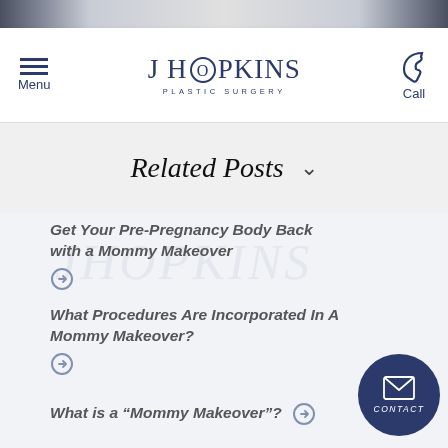[Figure (photo): Top photo strip showing two people (partially cropped), used as decorative header image]
J Hopkins Plastic Surgery — Menu / Call navigation bar
Related Posts
Get Your Pre-Pregnancy Body Back with a Mommy Makeover
What Procedures Are Incorporated In A Mommy Makeover?
What is a “Mommy Makeover”?